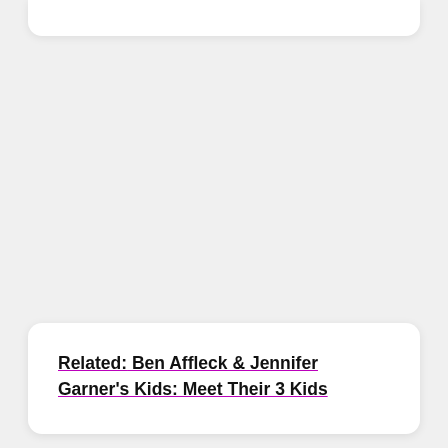Related: Ben Affleck & Jennifer Garner's Kids: Meet Their 3 Kids